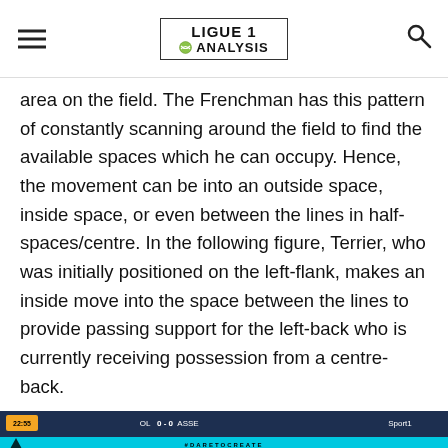LIGUE 1 ANALYSIS
area on the field. The Frenchman has this pattern of constantly scanning around the field to find the available spaces which he can occupy. Hence, the movement can be into an outside space, inside space, or even between the lines in half-spaces/centre. In the following figure, Terrier, who was initially positioned on the left-flank, makes an inside move into the space between the lines to provide passing support for the left-back who is currently receiving possession from a centre-back.
[Figure (screenshot): Football match screenshot showing a top-down broadcast view of a soccer field during a Ligue 1 match (OL 0-0 ASSE, 22:55). Player labeled 'Terrier' is visible with an orange ellipse highlighting a space between the lines and a yellow arrow indicating his movement from the left-flank into the central area between the lines.]